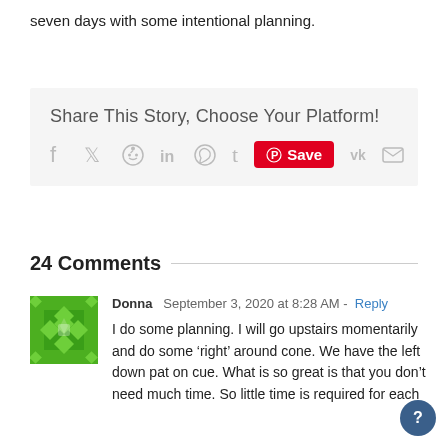seven days with some intentional planning.
Share This Story, Choose Your Platform!
[Figure (infographic): Social share bar with icons for Facebook, Twitter, Reddit, LinkedIn, WhatsApp, Tumblr, Pinterest Save button (red), VK, and Email]
24 Comments
[Figure (illustration): Green geometric avatar icon for user Donna]
Donna  September 3, 2020 at 8:28 AM - Reply
I do some planning. I will go upstairs momentarily and do some ‘right’ around cone. We have the left down pat on cue. What is so great is that you don’t need much time. So little time is required for each